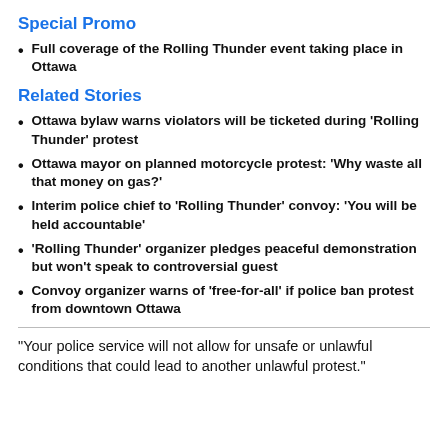Special Promo
Full coverage of the Rolling Thunder event taking place in Ottawa
Related Stories
Ottawa bylaw warns violators will be ticketed during 'Rolling Thunder' protest
Ottawa mayor on planned motorcycle protest: 'Why waste all that money on gas?'
Interim police chief to 'Rolling Thunder' convoy: 'You will be held accountable'
'Rolling Thunder' organizer pledges peaceful demonstration but won't speak to controversial guest
Convoy organizer warns of 'free-for-all' if police ban protest from downtown Ottawa
“Your police service will not allow for unsafe or unlawful conditions that could lead to another unlawful protest.”